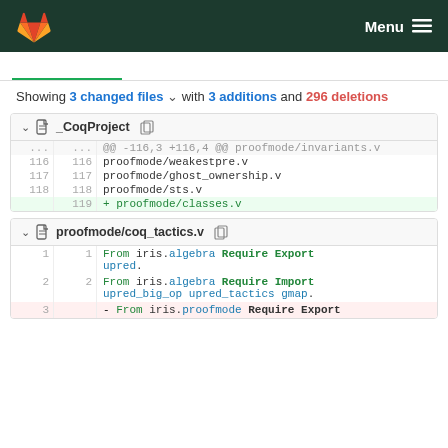Menu
Showing 3 changed files with 3 additions and 296 deletions
| old ln | new ln | code |
| --- | --- | --- |
| ... | ... | @@ -116,3 +116,4 @@ proofmode/invariants.v |
| 116 | 116 | proofmode/weakestpre.v |
| 117 | 117 | proofmode/ghost_ownership.v |
| 118 | 118 | proofmode/sts.v |
|  | 119 | + proofmode/classes.v |
_CoqProject
| old ln | new ln | code |
| --- | --- | --- |
| 1 | 1 | From iris.algebra Require Export upred. |
| 2 | 2 | From iris.algebra Require Import upred_big_op upred_tactics gmap. |
| 3 |  | - From iris.proofmode Require Export |
proofmode/coq_tactics.v